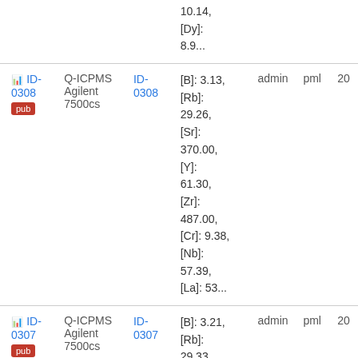| ID | Method | ID ref | Data | Admin | pml | Year |
| --- | --- | --- | --- | --- | --- | --- |
|  |  |  | 10.14, [Dy]: 8.9... |  |  |  |
| ID-0308 pub | Q-ICPMS Agilent 7500cs | ID-0308 | [B]: 3.13, [Rb]: 29.26, [Sr]: 370.00, [Y]: 61.30, [Zr]: 487.00, [Cr]: 9.38, [Nb]: 57.39, [La]: 53... | admin | pml | 20 |
| ID-0307 pub | Q-ICPMS Agilent 7500cs | ID-0307 | [B]: 3.21, [Rb]: 29.33, [Sm]: 13.77, [Dy]: | admin | pml | 20 |